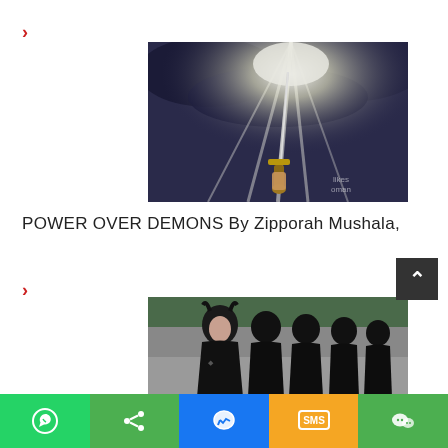[Figure (photo): A sword being held up against a dramatic sky with rays of light shining through clouds]
POWER OVER DEMONS By Zipporah Mushala,
[Figure (photo): A woman dressed in black with devil horns leading a procession of people in black robes/cloaks]
Social sharing bar with WhatsApp, Share, Messenger, SMS, WeChat buttons